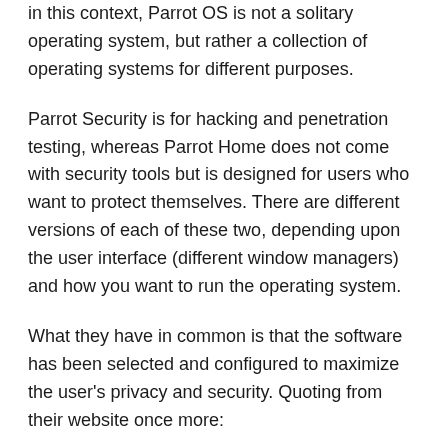in this context, Parrot OS is not a solitary operating system, but rather a collection of operating systems for different purposes.
Parrot Security is for hacking and penetration testing, whereas Parrot Home does not come with security tools but is designed for users who want to protect themselves. There are different versions of each of these two, depending upon the user interface (different window managers) and how you want to run the operating system.
What they have in common is that the software has been selected and configured to maximize the user's privacy and security. Quoting from their website once more: